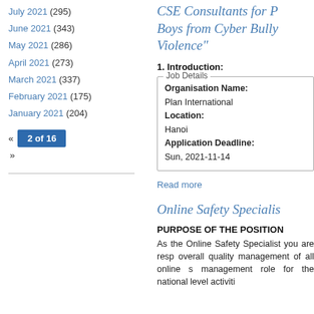July 2021 (295)
June 2021 (343)
May 2021 (286)
April 2021 (273)
March 2021 (337)
February 2021 (175)
January 2021 (204)
« 2 of 16 »
CSE Consultants for P Boys from Cyber Bully Violence"
1. Introduction:
| Job Details |
| --- |
| Organisation Name: | Plan International |
| Location: | Hanoi |
| Application Deadline: | Sun, 2021-11-14 |
Read more
Online Safety Specialis
PURPOSE OF THE POSITION
As the Online Safety Specialist you are resp overall quality management of all online s management role for the national level activiti